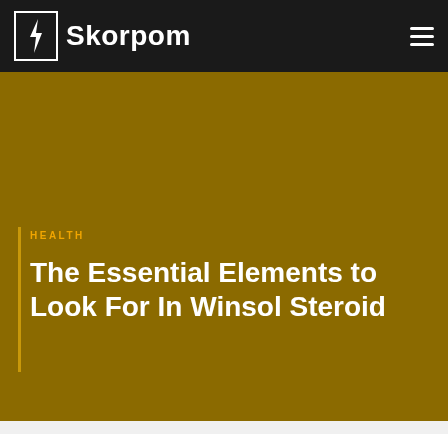Skorpom
HEALTH
The Essential Elements to Look For In Winsol Steroid